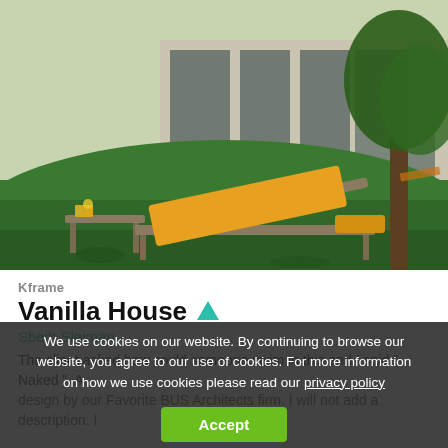[Figure (photo): Outdoor garden scene with a yellow/orange lounge chair and small side table on green grass, modern house with large glass windows in background, trees visible]
Kframe
Vanilla House ▲
Sbeih Sleiman
The client asked how could someone swim in this and I said " Naked ". A design by our Favorite BUS Architects firm. I will not add a description. I
We use cookies on our website. By continuing to browse our website, you agree to our use of cookies. For more information on how we use cookies please read our privacy policy
Accept